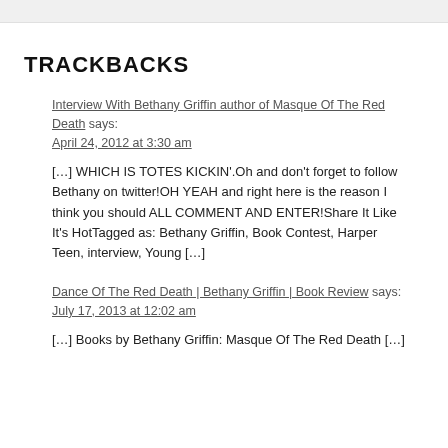TRACKBACKS
Interview With Bethany Griffin author of Masque Of The Red Death says:
April 24, 2012 at 3:30 am
[…] WHICH IS TOTES KICKIN'.Oh and don't forget to follow Bethany on twitter!OH YEAH and right here is the reason I think you should ALL COMMENT AND ENTER!Share It Like It's HotTagged as: Bethany Griffin, Book Contest, Harper Teen, interview, Young […]
Dance Of The Red Death | Bethany Griffin | Book Review says:
July 17, 2013 at 12:02 am
[…] Books by Bethany Griffin: Masque Of The Red Death […]